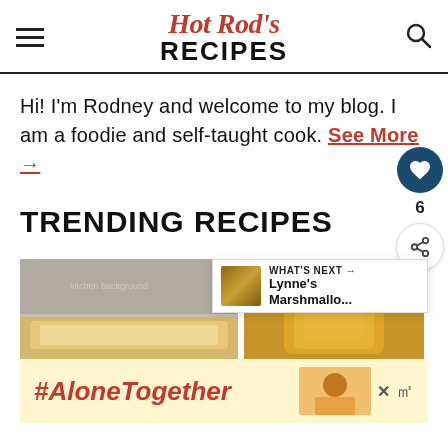Hot Rod's RECIPES
Hi! I'm Rodney and welcome to my blog. I am a foodie and self-taught cook. See More →
TRENDING RECIPES
[Figure (photo): Food photo showing a casserole or baked dish (left) and a golden drink or oil in a glass (right); thumbnail of marshmallow-topped dish for 'What's Next' overlay]
WHAT'S NEXT → Lynne's Marshmallo...
#AloneTogether